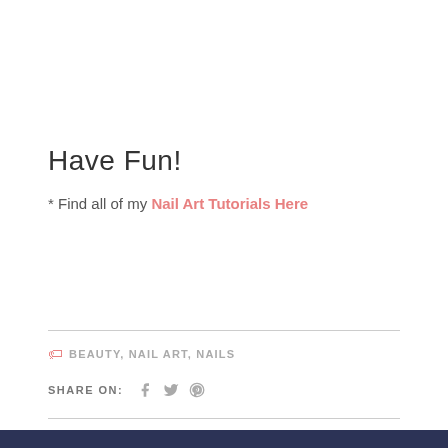Have Fun!
* Find all of my Nail Art Tutorials Here
BEAUTY, NAIL ART, NAILS
SHARE ON: